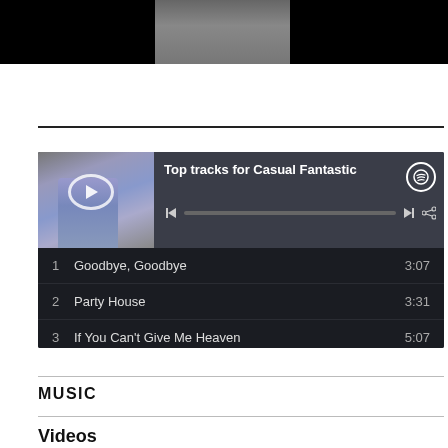[Figure (screenshot): Video banner with black background and partially visible person in center]
[Figure (screenshot): Spotify widget showing Top tracks for Casual Fantastic with album art, play controls, and track listing: 1. Goodbye, Goodbye 3:07, 2. Party House 3:31, 3. If You Can't Give Me Heaven 5:07]
MUSIC
Videos